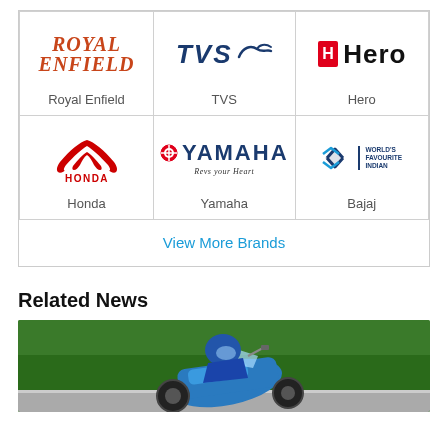| Brand | Brand | Brand |
| --- | --- | --- |
| Royal Enfield | TVS | Hero |
| Honda | Yamaha | Bajaj |
| View More Brands |  |  |
Related News
[Figure (photo): A motorcycle racer on a blue sport bike, leaning forward, with green foliage in the background]